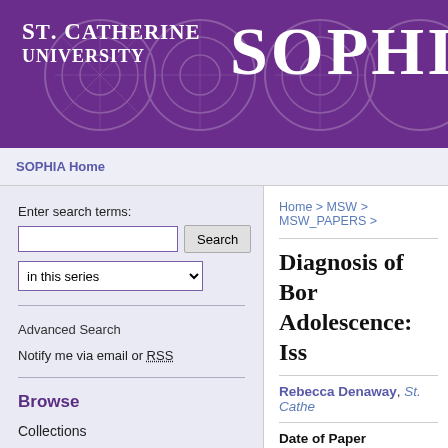ST. CATHERINE UNIVERSITY | SOPHIA
SOPHIA Home
Enter search terms:
in this series
Advanced Search
Notify me via email or RSS
Browse
Collections
Disciplines
Authors
Author Corner
Author FAQ
Home > MSW > MSW_PAPERS >
Diagnosis of Borderline Personality Disorder in Adolescence: Iss
Rebecca Denaway, St. Cathe
Date of Paper
8-2016
Type of Paper
Clinical research paper